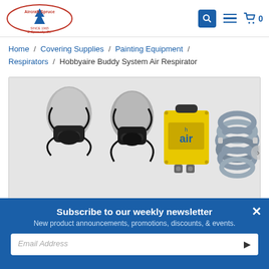Aircraft Spruce & Specialty Co. — navigation header with search, menu, and cart icons
Home / Covering Supplies / Painting Equipment / Respirators / Hobbyaire Buddy System Air Respirator
[Figure (photo): Product photo showing two mannequin heads wearing black respirator masks, a yellow Hobbyaire Buddy System air pump unit, and a coiled grey air hose]
Subscribe to our weekly newsletter
New product announcements, promotions, discounts, & events.
Email Address